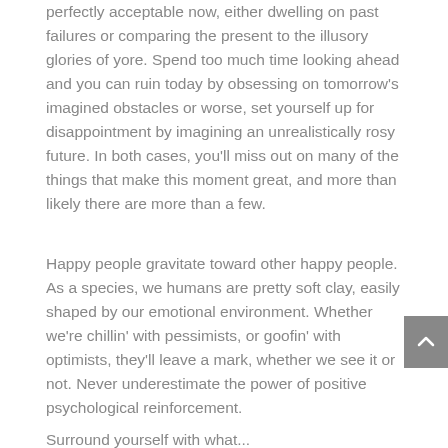perfectly acceptable now, either dwelling on past failures or comparing the present to the illusory glories of yore. Spend too much time looking ahead and you can ruin today by obsessing on tomorrow's imagined obstacles or worse, set yourself up for disappointment by imagining an unrealistically rosy future. In both cases, you'll miss out on many of the things that make this moment great, and more than likely there are more than a few.
Happy people gravitate toward other happy people. As a species, we humans are pretty soft clay, easily shaped by our emotional environment. Whether we're chillin' with pessimists, or goofin' with optimists, they'll leave a mark, whether we see it or not. Never underestimate the power of positive psychological reinforcement.
Surround yourself with what...